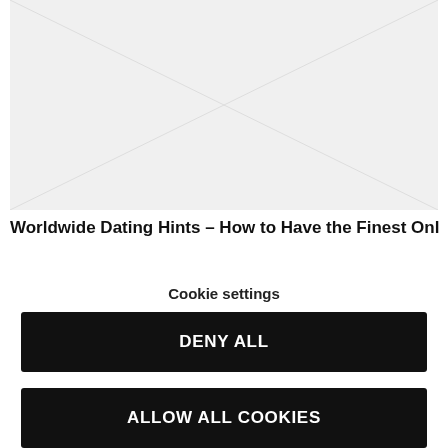[Figure (illustration): Placeholder image with light gray background and diagonal cross lines, partially visible at top of page]
Worldwide Dating Hints – How to Have the Finest Online
About cookies on this site
We use cookies to collect and analyse information on site performance and usage, to provide social media features and to enhance and customise content and advertisements. Learn more
Cookie settings
DENY ALL
ALLOW ALL COOKIES